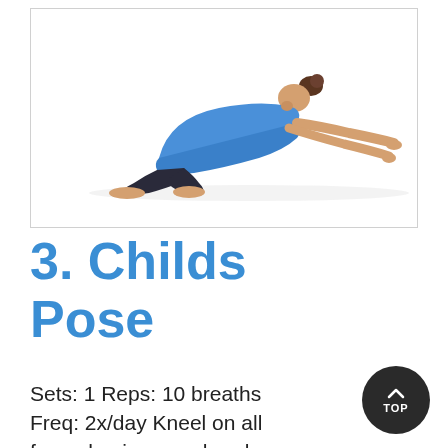[Figure (photo): A person performing Child's Pose yoga exercise — kneeling on the floor, torso folded forward, arms stretched out in front, head down, wearing a blue top and dark shorts.]
3. Childs Pose
Sets: 1 Reps: 10 breaths Freq: 2x/day Kneel on all fours, having your hands